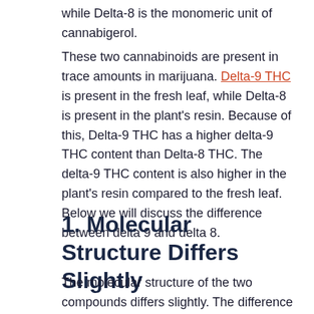while Delta-8 is the monomeric unit of cannabigerol.
These two cannabinoids are present in trace amounts in marijuana. Delta-9 THC is present in the fresh leaf, while Delta-8 is present in the plant's resin. Because of this, Delta-9 THC has a higher delta-9 THC content than Delta-8 THC. The delta-9 THC content is also higher in the plant's resin compared to the fresh leaf. Below we will discuss the difference between delta 9 and delta 8.
1. Molecular Structure Differs Slightly
The molecular structure of the two compounds differs slightly. The difference is that Delta-9 THC contains a double bond between the carbon and nitrogen atoms in the molecule. This double bond is